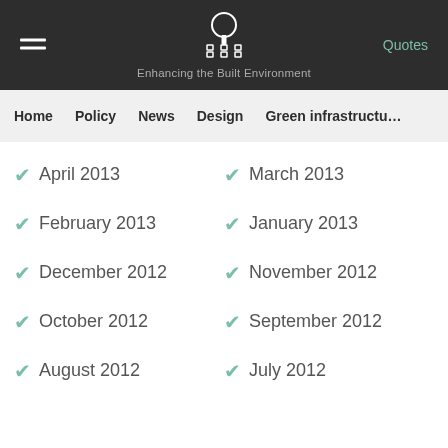Enhancing the Built Environment — Quotes
Home | Policy | News | Design | Green infrastructure
April 2013
March 2013
February 2013
January 2013
December 2012
November 2012
October 2012
September 2012
August 2012
July 2012